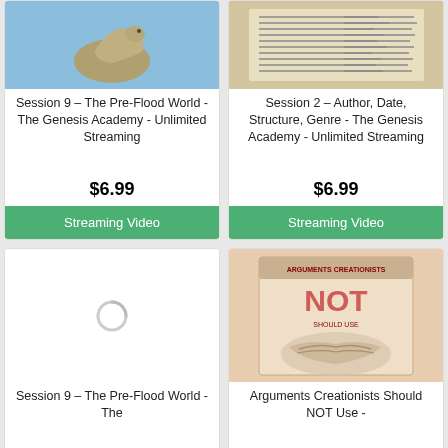[Figure (photo): Dinosaur/animal photo with blue sky background]
Session 9 – The Pre-Flood World - The Genesis Academy - Unlimited Streaming
$6.99
Streaming Video
[Figure (photo): Open Bible/book with text pages visible]
Session 2 – Author, Date, Structure, Genre - The Genesis Academy - Unlimited Streaming
$6.99
Streaming Video
[Figure (photo): Loading spinner placeholder]
Session 9 – The Pre-Flood World - The
[Figure (photo): Book cover: Arguments Creationists Should NOT Use]
Arguments Creationists Should NOT Use -